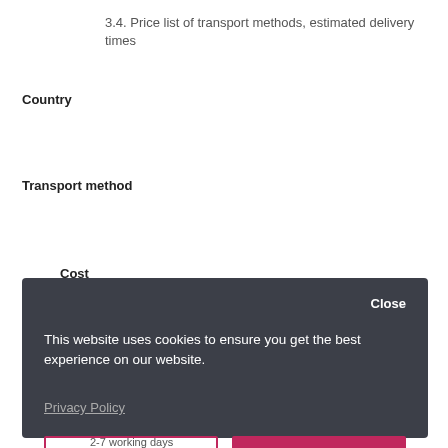3.4. Price list of transport methods, estimated delivery times
Country
Transport method
Cost
[Figure (screenshot): Cookie consent popup overlay with dark background. Contains text: 'This website uses cookies to ensure you get the best experience on our website.' with a Privacy Policy link. Two buttons: 'Preferences' (outlined) and 'Accept' (filled pink/red). A 'Close' button in top right.]
2-7 working days